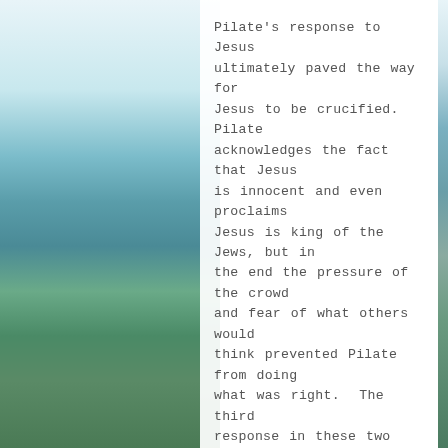Pilate's response to Jesus ultimately paved the way for Jesus to be crucified.  Pilate acknowledges the fact that Jesus is innocent and even proclaims Jesus is king of the Jews, but in the end the pressure of the crowd and fear of what others would think prevented Pilate from doing what was right.  The third response in these two chapters is seen in the religious leaders.  These were God-fearing people who desired to follow God and were looking forward to the coming Messiah; however, they were entrenched in the man-made traditions of their religious façade.  If God was not going to conform to their understanding and preconceived ideas then even God would be allowed to be nailed to a tree.  Each of these